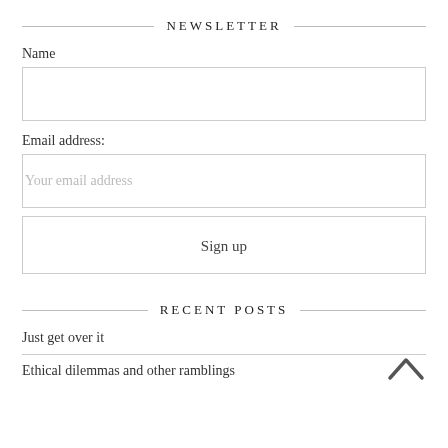NEWSLETTER
Name
Email address:
Your email address
Sign up
RECENT POSTS
Just get over it
Ethical dilemmas and other ramblings